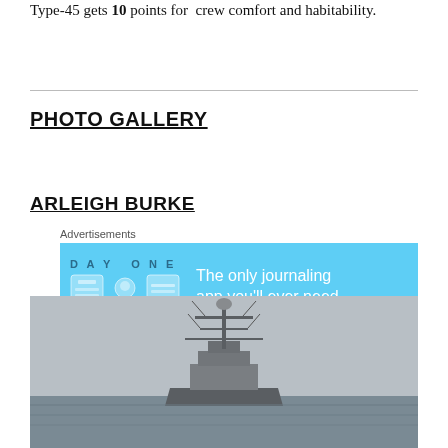Type-45 gets 10 points for crew comfort and habitability.
PHOTO GALLERY
ARLEIGH BURKE
[Figure (infographic): Advertisement banner for Day One journaling app on a light blue background with icons and tagline 'The only journaling app you'll ever need.']
[Figure (photo): Photograph of a naval destroyer ship (Arleigh Burke class) at sea in misty/grey conditions, showing the ship's mast and superstructure from the front.]